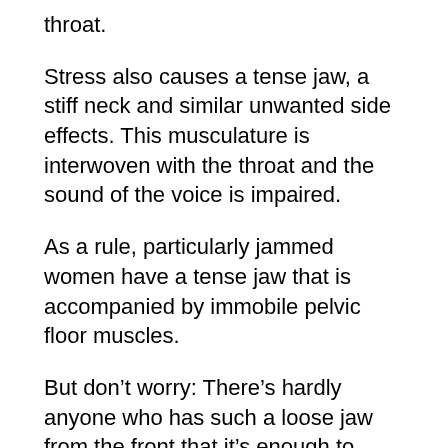throat.
Stress also causes a tense jaw, a stiff neck and similar unwanted side effects. This musculature is interwoven with the throat and the sound of the voice is impaired.
As a rule, particularly jammed women have a tense jaw that is accompanied by immobile pelvic floor muscles.
But don’t worry: There’s hardly anyone who has such a loose jaw from the front that it’s enough to